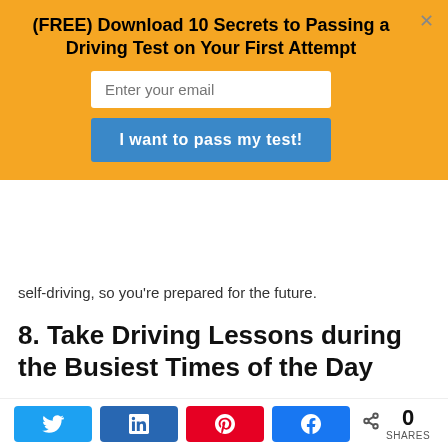(FREE) Download 10 Secrets to Passing a Driving Test on Your First Attempt
self-driving, so you're prepared for the future.
8. Take Driving Lessons during the Busiest Times of the Day
Consider scheduling your driving lessons during periods of heavy traffic.
To make your next driving test less stressful, you should get familiarized with driving on busier roads with greater risks.
9. Choose a Time That Isn't Too
[Figure (infographic): Social share buttons: Twitter, LinkedIn, Pinterest, Facebook, and a share count showing 0 SHARES]